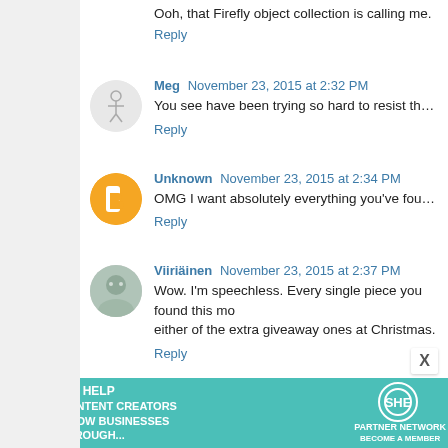Ooh, that Firefly object collection is calling me.
Reply
Meg  November 23, 2015 at 2:32 PM
You see have been trying so hard to resist the little golden p
Reply
Unknown  November 23, 2015 at 2:34 PM
OMG I want absolutely everything you've found this month!
Reply
Viiriäinen  November 23, 2015 at 2:37 PM
Wow. I'm speechless. Every single piece you found this me either of the extra giveaway ones at Christmas.
Reply
Natalie  November 23, 2015 at 2:37 PM
[Figure (infographic): SHE Partner Network advertisement banner - teal background with text 'We help content creators grow businesses through...' and LEARN MORE button]